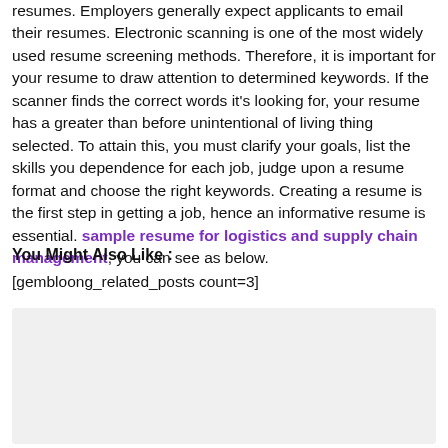resumes. Employers generally expect applicants to email their resumes. Electronic scanning is one of the most widely used resume screening methods. Therefore, it is important for your resume to draw attention to determined keywords. If the scanner finds the correct words it's looking for, your resume has a greater than before unintentional of living thing selected. To attain this, you must clarify your goals, list the skills you dependence for each job, judge upon a resume format and choose the right keywords. Creating a resume is the first step in getting a job, hence an informative resume is essential. sample resume for logistics and supply chain management, you can see as below.
You Might Also Like :
[gembloong_related_posts count=3]
[Figure (other): Gray placeholder box]